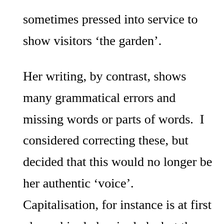sometimes pressed into service to show visitors ‘the garden’.

Her writing, by contrast, shows many grammatical errors and missing words or parts of words.  I considered correcting these, but decided that this would no longer be her authentic ‘voice’.  Capitalisation, for instance is at first glance higgledy-piggledy, but then there seems to be a pattern: when something is emotive it seems to gain a capital (Bomb,